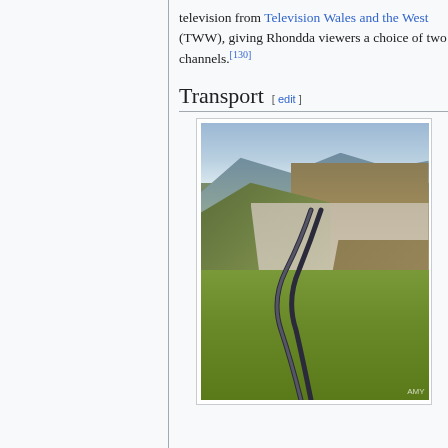television from Television Wales and the West (TWW), giving Rhondda viewers a choice of two channels.[130]
Transport [ edit ]
[Figure (photo): Aerial view of a Welsh valley showing a winding road in the foreground, green hills on either side, and a town nestled in the valley below, with mountains in the background.]